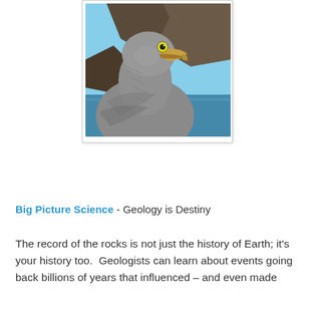[Figure (photo): A large seabird (albatross or similar) with grey feathers, yellow eye, and large tan beak, photographed close-up in front of rocky sea cliffs and blue ocean water.]
Big Picture Science - Geology is Destiny
The record of the rocks is not just the history of Earth; it's your history too. Geologists can learn about events going back billions of years that influenced – and even made